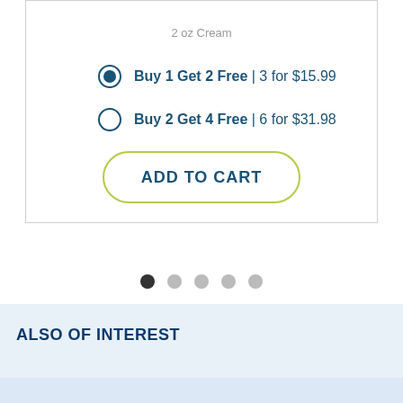2 oz Cream
Buy 1 Get 2 Free | 3 for $15.99
Buy 2 Get 4 Free | 6 for $31.98
ADD TO CART
ALSO OF INTEREST